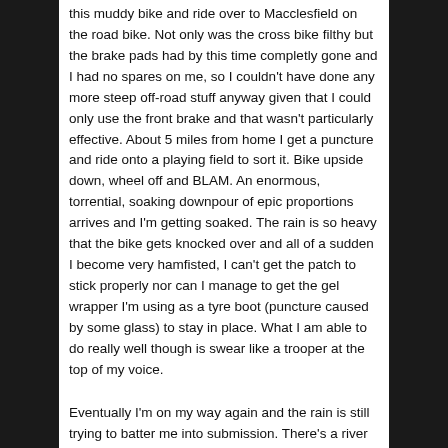this muddy bike and ride over to Macclesfield on the road bike. Not only was the cross bike filthy but the brake pads had by this time completly gone and I had no spares on me, so I couldn't have done any more steep off-road stuff anyway given that I could only use the front brake and that wasn't particularly effective. About 5 miles from home I get a puncture and ride onto a playing field to sort it. Bike upside down, wheel off and BLAM. An enormous, torrential, soaking downpour of epic proportions arrives and I'm getting soaked. The rain is so heavy that the bike gets knocked over and all of a sudden I become very hamfisted, I can't get the patch to stick properly nor can I manage to get the gel wrapper I'm using as a tyre boot (puncture caused by some glass) to stay in place. What I am able to do really well though is swear like a trooper at the top of my voice.
Eventually I'm on my way again and the rain is still trying to batter me into submission. There's a river running down the main road and this bloody rear tyre is still going flat. Not as quickly as it was before, but definately getting softer.